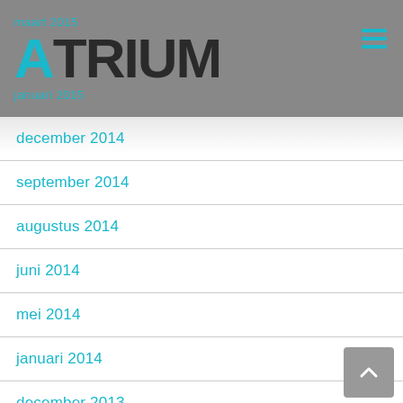maart 2015 ATRIUM januari 2015
december 2014
september 2014
augustus 2014
juni 2014
mei 2014
januari 2014
december 2013
oktober 2013
september 2013